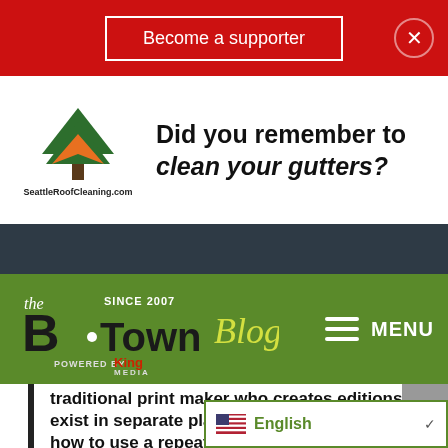Become a supporter
[Figure (logo): Seattle Roof Cleaning advertisement with tree/house logo and text 'Did you remember to clean your gutters?']
[Figure (logo): B-Town Blog logo on green navigation bar, 'Since 2007', 'Powered by King Media', with MENU hamburger button]
traditional print maker who creates editions that exist in separate places in the world, I focus on how to use a repeat in a spatial sense. I mine my past work for elements that are appropriate for the new pieceâ€“reusing patterned silkscreens, leftover cut vinyl and other ephemera from past work to fit a new site. This piece does not follow a set narrative, but is a recombination of a cast of characters and elements from past ins
English